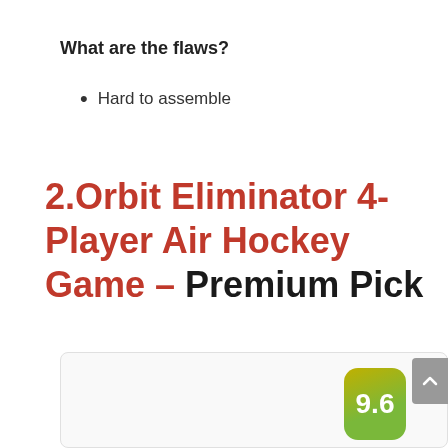What are the flaws?
Hard to assemble
2. Orbit Eliminator 4-Player Air Hockey Game – Premium Pick
[Figure (other): Score badge showing 9.6 rating with green-to-olive gradient rounded rectangle badge, inside a white card panel. A grey scroll-to-top button is visible on the right edge.]